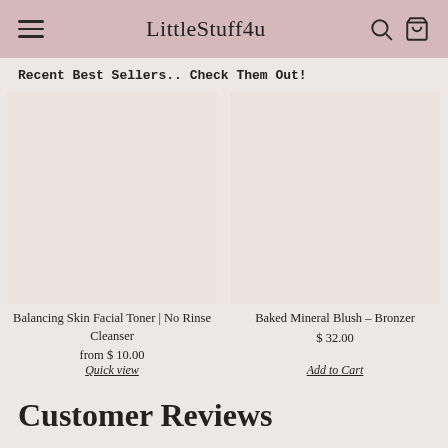LittleStuff4u
Recent Best Sellers.. Check Them Out!
[Figure (photo): Product image placeholder for Balancing Skin Facial Toner]
Balancing Skin Facial Toner | No Rinse Cleanser
from $ 10.00
Quick view
[Figure (photo): Product image placeholder for Baked Mineral Blush - Bronzer]
Baked Mineral Blush – Bronzer
$ 32.00
Add to Cart
Customer Reviews